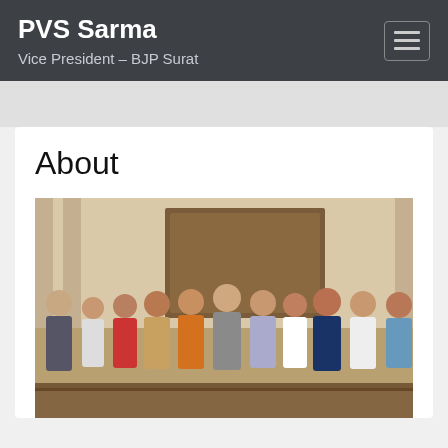PVS Sarma
Vice President – BJP Surat
About
[Figure (photo): Group photo of approximately 11 men standing in a formal indoor setting, likely a government office. Some are wearing traditional Indian attire including kurta and vest (waistcoat). One man in the center appears to be in a grey suit. Wooden paneling and curtains visible in the background.]